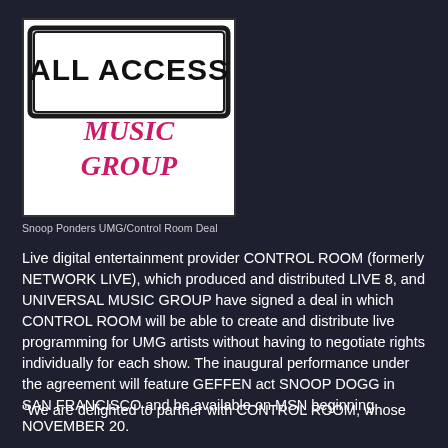[Figure (logo): All Access Music Group logo — stylized stamp text 'ALL ACCESS' in black block letters on white background, with 'MUSIC GROUP' in bold pink/magenta script below]
Snoop Ponders UMG/Control Room Deal
Live digital entertainment provider CONTROL ROOM (formerly NETWORK LIVE), which produced and distributed LIVE 8, and UNIVERSAL MUSIC GROUP have signed a deal in which CONTROL ROOM will be able to create and distribute live programming for UMG artists without having to negotiate rights individually for each show. The inaugural performance under the agreement will feature GEFFEN act SNOOP DOGG in SAN FRANCISCO and be available on MSN beginning NOVEMBER 20.
"We are delighted to partner with CONTROL ROOM, whose